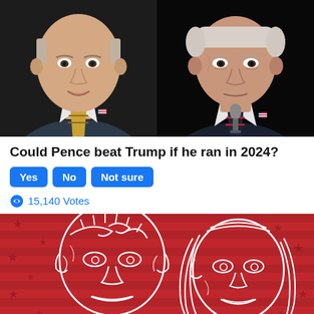[Figure (photo): Side-by-side photos of Mike Pence (left, smiling, wearing a gold striped tie and dark suit with US flag pin, black background) and Joe Biden (right, speaking at microphone, wearing dark suit with US flag pin, dark background)]
Could Pence beat Trump if he ran in 2024?
Yes  No  Not sure
15,140 Votes
[Figure (illustration): Red background with white star pattern (American flag motif), white line-art caricature illustrations of two political figures — a bald man on the left and a woman with long hair on the right]